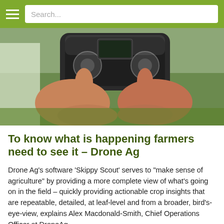Search...
[Figure (photo): Hands holding a drone remote control / controller with joysticks, photographed outdoors against a green grass background.]
To know what is happening farmers need to see it – Drone Ag
Drone Ag's software 'Skippy Scout' serves to "make sense of agriculture" by providing a more complete view of what's going on in the field – quickly providing actionable crop insights that are repeatable, detailed, at leaf-level and from a broader, bird's-eye-view, explains Alex Macdonald-Smith, Chief Operations Officer at DroneAg.
READ MORE »
14/07/2022